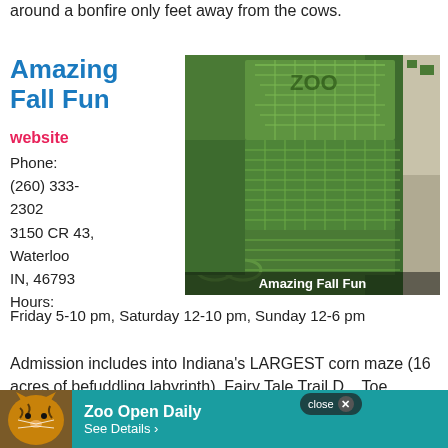around a bonfire only feet away from the cows.
Amazing Fall Fun
website
Phone:
(260) 333-2302
3150 CR 43, Waterloo IN, 46793
Hours:
Friday 5-10 pm, Saturday 12-10 pm, Sunday 12-6 pm
[Figure (photo): Aerial view of a large corn maze with zoo animal designs cut into the field, with caption 'Amazing Fall Fun']
Amazing Fall Fun
Admission includes into Indiana's LARGEST corn maze (16 acres of befuddling labyrinth), Fairy Tale Trail D... Toe, Farme... Tire
[Figure (other): Advertisement overlay showing a tiger photo with text 'Zoo Open Daily - See Details ›' and a close button]